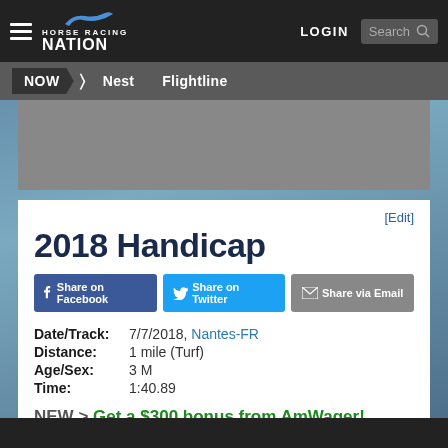Horse Racing Nation | LOGIN | Search
NOW > Nest  Flightline
[Edit]
2018 Handicap
Share on Facebook  Share on Twitter  Share via Email
Date/Track: 7/7/2018, Nantes-FR
Distance: 1 mile (Turf)
Age/Sex: 3 M
Time: 1:40.89
NEW > Get a $300 bonus from AmWager! (recommended)  + cash rewards daily!